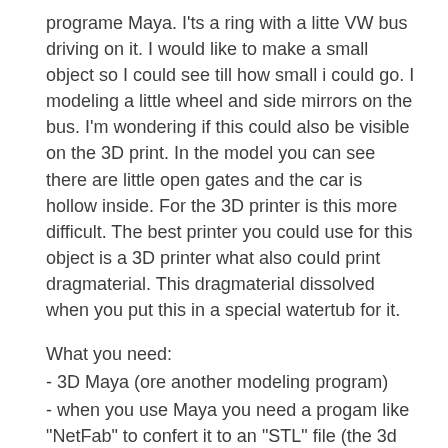programe Maya. I'ts a ring with a litte VW bus driving on it. I would like to make a small object so I could see till how small i could go. I modeling a little wheel and side mirrors on the bus. I'm wondering if this could also be visible on the 3D print. In the model you can see there are little open gates and the car is hollow inside. For the 3D printer is this more difficult. The best printer you could use for this object is a 3D printer what also could print dragmaterial. This dragmaterial dissolved when you put this in a special watertub for it.
What you need:
- 3D Maya (ore another modeling program)
- when you use Maya you need a progam like "NetFab" to confert it to an "STL" file (the 3d printer can't read a Maya OBJ)